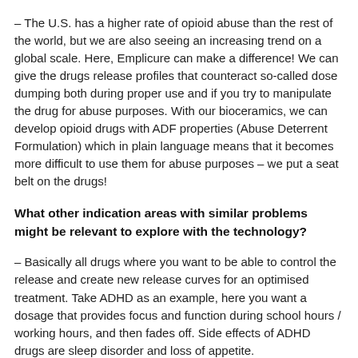– The U.S. has a higher rate of opioid abuse than the rest of the world, but we are also seeing an increasing trend on a global scale. Here, Emplicure can make a difference! We can give the drugs release profiles that counteract so-called dose dumping both during proper use and if you try to manipulate the drug for abuse purposes. With our bioceramics, we can develop opioid drugs with ADF properties (Abuse Deterrent Formulation) which in plain language means that it becomes more difficult to use them for abuse purposes – we put a seat belt on the drugs!
What other indication areas with similar problems might be relevant to explore with the technology?
– Basically all drugs where you want to be able to control the release and create new release curves for an optimised treatment. Take ADHD as an example, here you want a dosage that provides focus and function during school hours / working hours, and then fades off. Side effects of ADHD drugs are sleep disorder and loss of appetite.